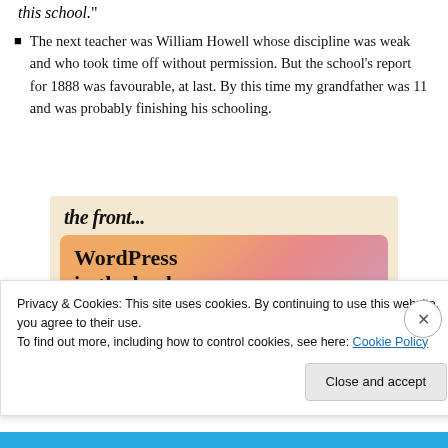this school.”
The next teacher was William Howell whose discipline was weak and who took time off without permission. But the school’s report for 1888 was favourable, at last. By this time my grandfather was 11 and was probably finishing his schooling.
[Figure (illustration): Advertisement banner with text 'the front...' at top and 'WordPress in the back.' on a colorful orange-pink-purple gradient background.]
Privacy & Cookies: This site uses cookies. By continuing to use this website, you agree to their use.
To find out more, including how to control cookies, see here: Cookie Policy
Close and accept